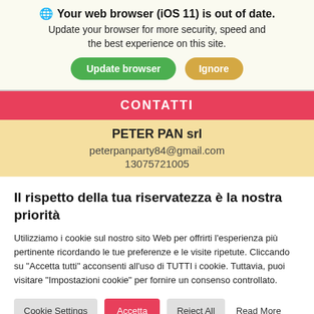Your web browser (iOS 11) is out of date.
Update your browser for more security, speed and the best experience on this site.
CONTATTI
PETER PAN srl
peterpanparty84@gmail.com
13075721005
Il rispetto della tua riservatezza è la nostra priorità
Utilizziamo i cookie sul nostro sito Web per offrirti l'esperienza più pertinente ricordando le tue preferenze e le visite ripetute. Cliccando su "Accetta tutti" acconsenti all'uso di TUTTI i cookie. Tuttavia, puoi visitare "Impostazioni cookie" per fornire un consenso controllato.
Cookie Settings   Accetta   Reject All   Read More